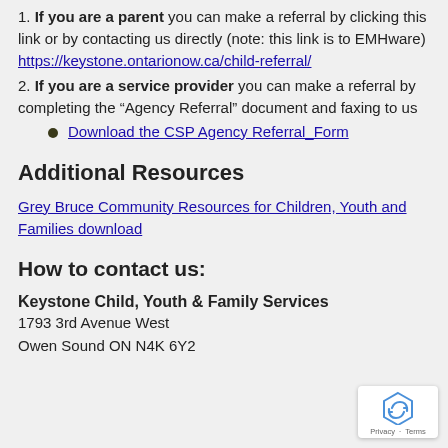1. If you are a parent you can make a referral by clicking this link or by contacting us directly (note: this link is to EMHware) https://keystone.ontarionow.ca/child-referral/
2. If you are a service provider you can make a referral by completing the “Agency Referral” document and faxing to us
Download the CSP Agency Referral_Form
Additional Resources
Grey Bruce Community Resources for Children, Youth and Families download
How to contact us:
Keystone Child, Youth & Family Services
1793 3rd Avenue West
Owen Sound ON N4K 6Y2